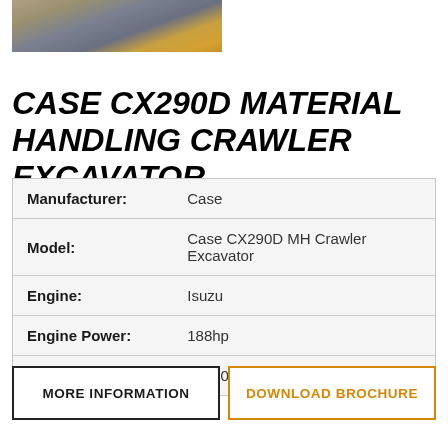[Figure (photo): Photograph of a yellow CASE CX290D crawler excavator working at a construction/demolition site with rubble and dust in background]
CASE CX290D MATERIAL HANDLING CRAWLER EXCAVATOR
| Attribute | Value |
| --- | --- |
| Manufacturer: | Case |
| Model: | Case CX290D MH Crawler Excavator |
| Engine: | Isuzu |
| Engine Power: | 188hp |
| Weight: | 32800kg |
MORE INFORMATION
DOWNLOAD BROCHURE